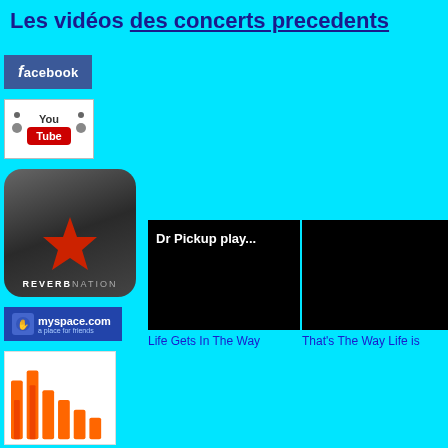Les vidéos des concerts precedents
[Figure (logo): Facebook logo button, dark blue background with white 'facebook' text]
[Figure (logo): YouTube logo, white box with 'You' text and red 'Tube' badge]
[Figure (logo): ReverbNation logo, dark rounded square with red star and REVERBNATION text]
[Figure (logo): myspace.com logo, blue background with white text 'myspace.com a place for friends']
[Figure (logo): Bar chart-style logo with orange bars on white background (Last.fm or similar)]
Listen to
Dr Pickup
[Figure (screenshot): Black video thumbnail with white text 'Dr Pickup play...']
Life Gets In The Way
[Figure (screenshot): Black video thumbnail (no visible content)]
That's The Way Life is